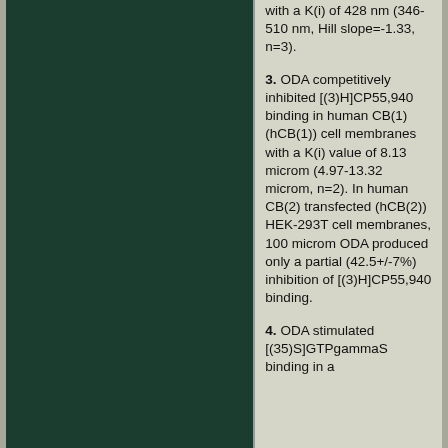[Figure (photo): Dark green background image panel on the left side of the page]
with a K(i) of 428 nm (346-510 nm, Hill slope=-1.33, n=3).
3. ODA competitively inhibited [(3)H]CP55,940 binding in human CB(1) (hCB(1)) cell membranes with a K(i) value of 8.13 microm (4.97-13.32 microm, n=2). In human CB(2) transfected (hCB(2)) HEK-293T cell membranes, 100 microm ODA produced only a partial (42.5+/-7%) inhibition of [(3)H]CP55,940 binding.
4. ODA stimulated [(35)S]GTPgammaS binding in a